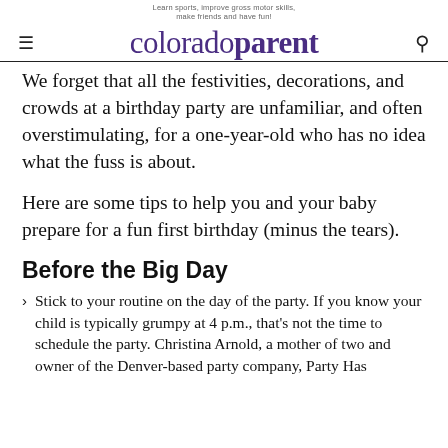coloradoparent — Learn sports, improve gross motor skills, make friends and have fun!
We forget that all the festivities, decorations, and crowds at a birthday party are unfamiliar, and often overstimulating, for a one-year-old who has no idea what the fuss is about.
Here are some tips to help you and your baby prepare for a fun first birthday (minus the tears).
Before the Big Day
Stick to your routine on the day of the party. If you know your child is typically grumpy at 4 p.m., that's not the time to schedule the party. Christina Arnold, a mother of two and owner of the Denver-based party company, Party Has